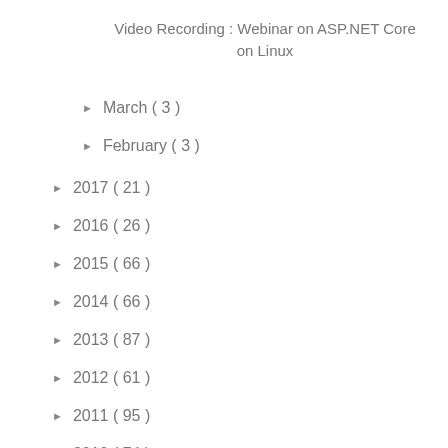Video Recording : Webinar on ASP.NET Core on Linux
March ( 3 )
February ( 3 )
2017 ( 21 )
2016 ( 26 )
2015 ( 66 )
2014 ( 66 )
2013 ( 87 )
2012 ( 61 )
2011 ( 95 )
2010 ( 74 )